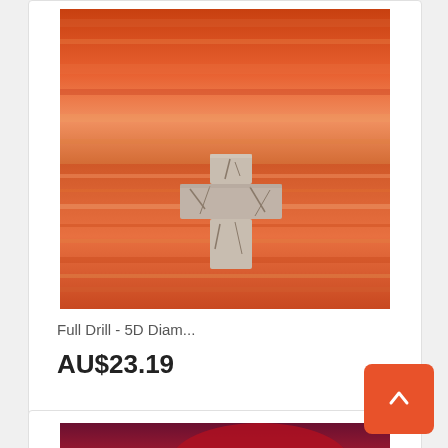[Figure (photo): A cracked stone cross lying on wet sand with warm orange-red sunset reflections in the water around it]
Full Drill - 5D Diam...
AU$23.19
[Figure (photo): A dramatic red and orange sunset sky with clouds illuminated in deep red and crimson tones]